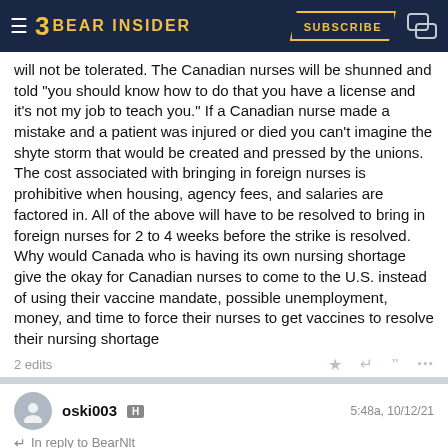BEAR INSIDER
will not be tolerated. The Canadian nurses will be shunned and told "you should know how to do that you have a license and it's not my job to teach you." If a Canadian nurse made a mistake and a patient was injured or died you can't imagine the shyte storm that would be created and pressed by the unions. The cost associated with bringing in foreign nurses is prohibitive when housing, agency fees, and salaries are factored in. All of the above will have to be resolved to bring in foreign nurses for 2 to 4 weeks before the strike is resolved. Why would Canada who is having its own nursing shortage give the okay for Canadian nurses to come to the U.S. instead of using their vaccine mandate, possible unemployment, money, and time to force their nurses to get vaccines to resolve their nursing shortage
2 edits
oski003 H  5:48a, 10/12/21
In reply to BearNlt
BearForce2 said:
Ian Miles Cheong